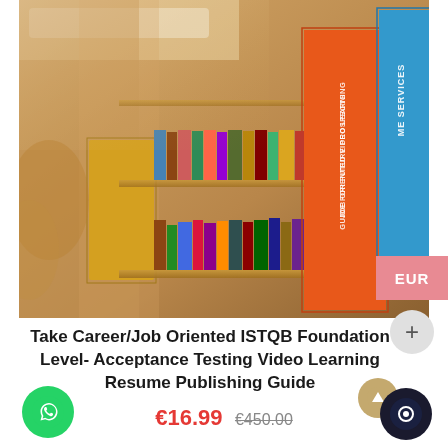[Figure (photo): Library bookshelf with books including orange-spined 'Job Oriented Video Learning Guide for Future Prospects' and blue-spined 'ME SERVICES' books visible. Warm lit library with rows of books on shelves.]
Take Career/Job Oriented ISTQB Foundation Level- Acceptance Testing Video Learning Resume Publishing Guide
€16.99  €450.00